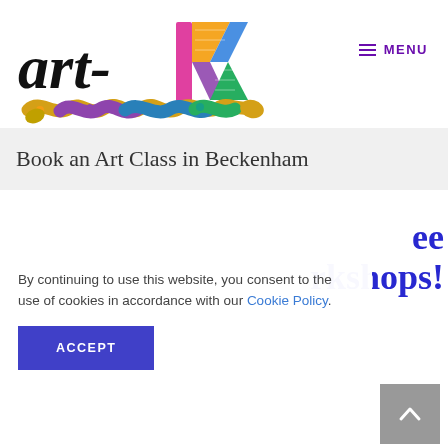[Figure (logo): art-K logo with colorful wave/brushstroke beneath stylized 'art-K' lettering]
≡ MENU
Book an Art Class in Beckenham
ee rkshops!
By continuing to use this website, you consent to the use of cookies in accordance with our Cookie Policy.
ACCEPT